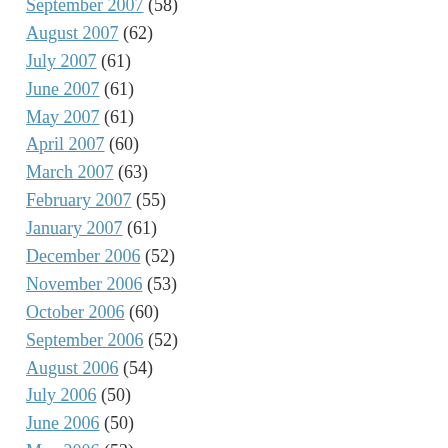September 2007 (58)
August 2007 (62)
July 2007 (61)
June 2007 (61)
May 2007 (61)
April 2007 (60)
March 2007 (63)
February 2007 (55)
January 2007 (61)
December 2006 (52)
November 2006 (53)
October 2006 (60)
September 2006 (52)
August 2006 (54)
July 2006 (50)
June 2006 (50)
May 2006 (52)
April 2006 (51)
March 2006 (56)